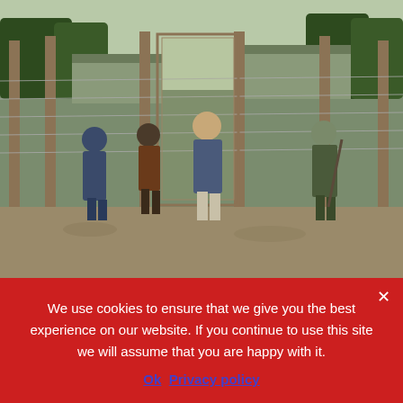[Figure (photo): Color photograph showing several people walking through what appears to be a World War II prisoner of war camp. Men in military uniforms and civilian clothes walk through a gate area surrounded by wooden fence posts and wire fencing. Buildings are visible in the background.]
Editor's note: The following excerpt on preparing to escape
We use cookies to ensure that we give you the best experience on our website. If you continue to use this site we will assume that you are happy with it.
Ok   Privacy policy